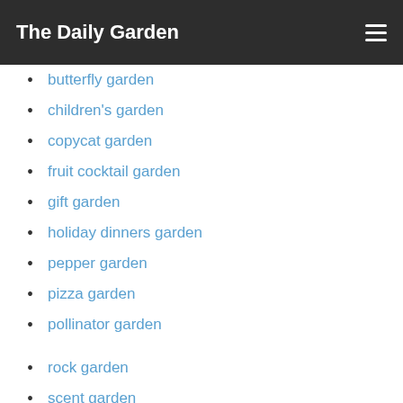The Daily Garden
butterfly garden
children's garden
copycat garden
fruit cocktail garden
gift garden
holiday dinners garden
pepper garden
pizza garden
pollinator garden
rock garden
scent garden
sensory garden
stir fry garden
storybook garden